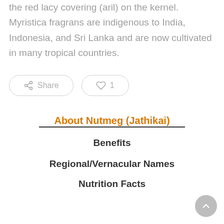the red lacy covering (aril) on the kernel. Myristica fragrans are indigenous to India, Indonesia, and Sri Lanka and are now cultivated in many tropical countries.
[Figure (other): Share button and heart/like button (count: 1) as pill-shaped UI controls]
About Nutmeg (Jathikai)
Benefits
Regional/Vernacular Names
Nutrition Facts